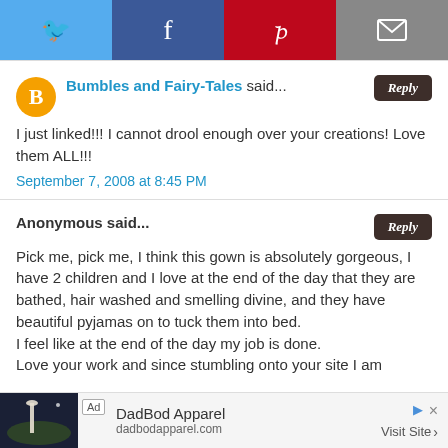[Figure (other): Social sharing bar with Twitter, Facebook, Pinterest, and Email icons]
Bumbles and Fairy-Tales said...
I just linked!!! I cannot drool enough over your creations! Love them ALL!!!
September 7, 2008 at 8:45 PM
Anonymous said...
Pick me, pick me, I think this gown is absolutely gorgeous, I have 2 children and I love at the end of the day that they are bathed, hair washed and smelling divine, and they have beautiful pyjamas on to tuck them into bed.
I feel like at the end of the day my job is done.
Love your work and since stumbling onto your site I am
[Figure (other): Advertisement banner for DadBod Apparel, dadbodapparel.com, Visit Site button]